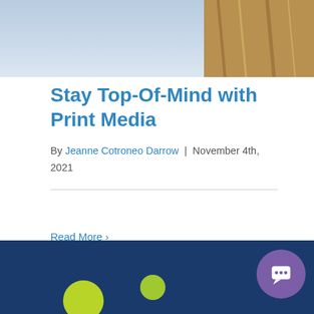[Figure (photo): Top portion of an outdoor photo showing sky and a wooden post or structure]
Stay Top-Of-Mind with Print Media
By Jeanne Cotroneo Darrow | November 4th, 2021
Read More >
[Figure (photo): Bottom dark navy blue image with lime green dots/circles, partial view of a decorative graphic or illustration]